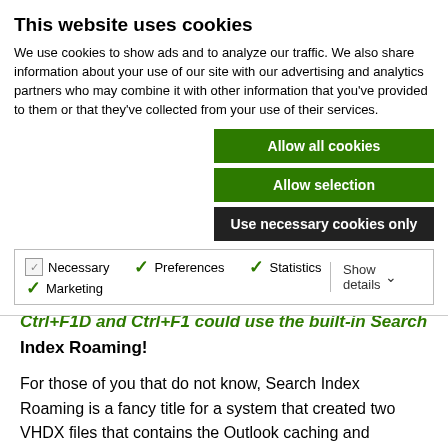This website uses cookies
We use cookies to show ads and to analyze our traffic. We also share information about your use of our site with our advertising and analytics partners who may combine it with other information that you've provided to them or that they've collected from your use of their services.
Allow all cookies
Allow selection
Use necessary cookies only
Necessary
Preferences
Statistics
Marketing
Show details
Ctrl+F1D and Ctrl+F1 could use the built-in Search Index Roaming!
For those of you that do not know, Search Index Roaming is a fancy title for a system that created two VHDX files that contains the Outlook caching and indexing files. They are hard- or softlink (I always forget which one) folders like
C:\Users\UserName\AppData\Local\Microsoft\Outlook